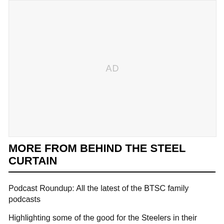[Figure (other): Advertisement placeholder box with 'AD' text centered inside a light gray rectangle]
MORE FROM BEHIND THE STEEL CURTAIN
Podcast Roundup: All the latest of the BTSC family podcasts
Highlighting some of the good for the Steelers in their preseason win over the Lions